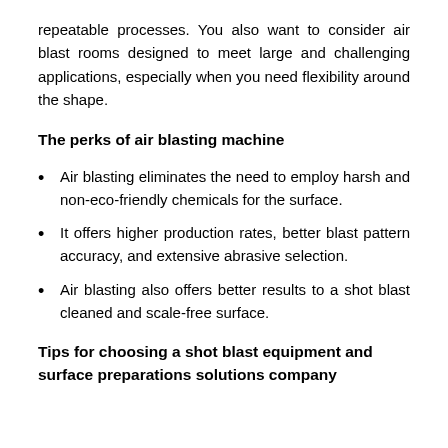repeatable processes. You also want to consider air blast rooms designed to meet large and challenging applications, especially when you need flexibility around the shape.
The perks of air blasting machine
Air blasting eliminates the need to employ harsh and non-eco-friendly chemicals for the surface.
It offers higher production rates, better blast pattern accuracy, and extensive abrasive selection.
Air blasting also offers better results to a shot blast cleaned and scale-free surface.
Tips for choosing a shot blast equipment and surface preparations solutions company